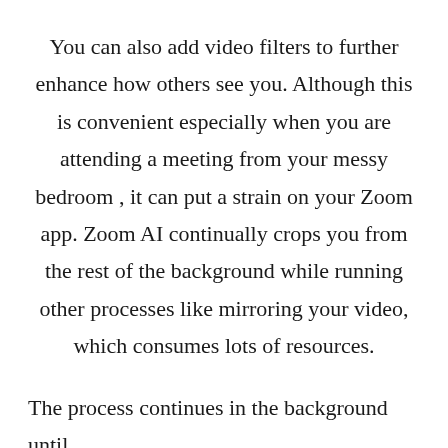You can also add video filters to further enhance how others see you. Although this is convenient especially when you are attending a meeting from your messy bedroom , it can put a strain on your Zoom app. Zoom AI continually crops you from the rest of the background while running other processes like mirroring your video, which consumes lots of resources.
The process continues in the background until